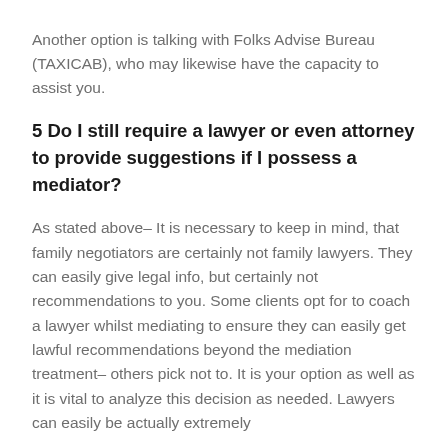Another option is talking with Folks Advise Bureau (TAXICAB), who may likewise have the capacity to assist you.
5 Do I still require a lawyer or even attorney to provide suggestions if I possess a mediator?
As stated above– It is necessary to keep in mind, that family negotiators are certainly not family lawyers. They can easily give legal info, but certainly not recommendations to you. Some clients opt for to coach a lawyer whilst mediating to ensure they can easily get lawful recommendations beyond the mediation treatment– others pick not to. It is your option as well as it is vital to analyze this decision as needed. Lawyers can easily be actually extremely